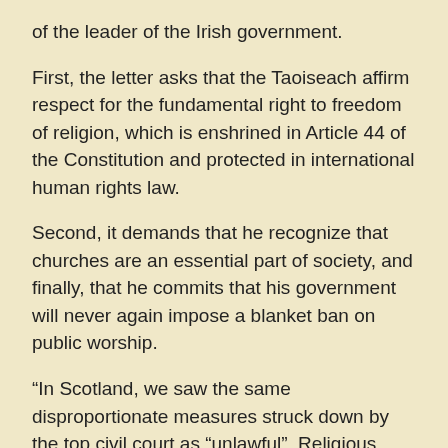of the leader of the Irish government.
First, the letter asks that the Taoiseach affirm respect for the fundamental right to freedom of religion, which is enshrined in Article 44 of the Constitution and protected in international human rights law.
Second, it demands that he recognize that churches are an essential part of society, and finally, that he commits that his government will never again impose a blanket ban on public worship.
“In Scotland, we saw the same disproportionate measures struck down by the top civil court as “unlawful”. Religious freedom is a fundamental human right, protected by the Irish Constitution, and it’s vital that the Irish government recognise this. Irish people of faith were deprived of worship, of the sacraments, and of the hope that the